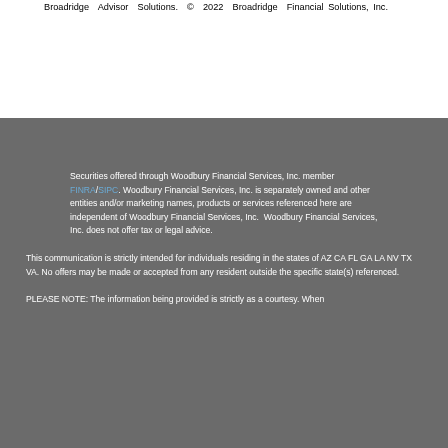Broadridge Advisor Solutions. © 2022 Broadridge Financial Solutions, Inc.
Securities offered through Woodbury Financial Services, Inc. member FINRA/SIPC. Woodbury Financial Services, Inc. is separately owned and other entities and/or marketing names, products or services referenced here are independent of Woodbury Financial Services, Inc. Woodbury Financial Services, Inc. does not offer tax or legal advice.
This communication is strictly intended for individuals residing in the states of AZ CA FL GA LA NV TX VA. No offers may be made or accepted from any resident outside the specific state(s) referenced.
PLEASE NOTE: The information being provided is strictly as a courtesy. When